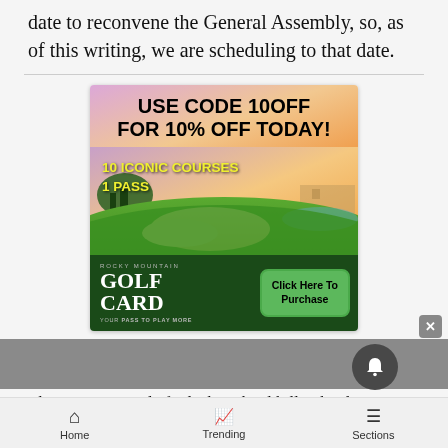date to reconvene the General Assembly, so, as of this writing, we are scheduling to that date.
[Figure (infographic): Advertisement for Rocky Mountain Golf Card. Top section has gradient pink/orange background with bold black text: 'USE CODE 10OFF FOR 10% OFF TODAY!' Below is a golf course scenic photo with yellow bold overlay text: '10 ICONIC COURSES 1 PASS'. Bottom dark green section shows Rocky Mountain Golf Card logo on left and a green 'Click Here To Purchase' button on right. Tagline: 'YOUR PASS TO PLAY MORE']
The JC Gujranwala finds the school bill School Di...
Home   Trending   Sections